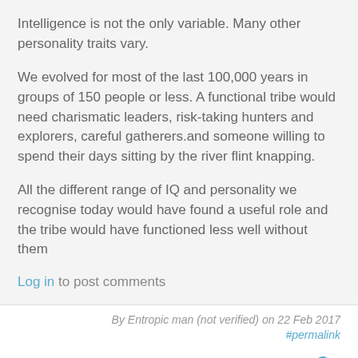Intelligence is not the only variable. Many other personality traits vary.
We evolved for most of the last 100,000 years in groups of 150 people or less. A functional tribe would need charismatic leaders, risk-taking hunters and explorers, careful gatherers.and someone willing to spend their days sitting by the river flint knapping.
All the different range of IQ and personality we recognise today would have found a useful role and the tribe would have functioned less well without them
Log in to post comments
By Entropic man (not verified) on 22 Feb 2017
#permalink
[Figure (illustration): User avatar icon in blue]
But many diving MAMMALS, unlike turtles, are